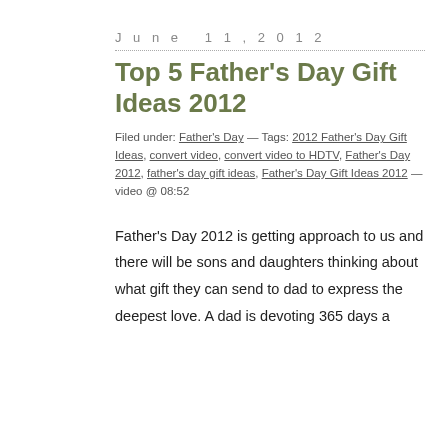June 11, 2012
Top 5 Father's Day Gift Ideas 2012
Filed under: Father's Day — Tags: 2012 Father's Day Gift Ideas, convert video, convert video to HDTV, Father's Day 2012, father's day gift ideas, Father's Day Gift Ideas 2012 — video @ 08:52
Father's Day 2012 is getting approach to us and there will be sons and daughters thinking about what gift they can send to dad to express the deepest love. A dad is devoting 365 days a